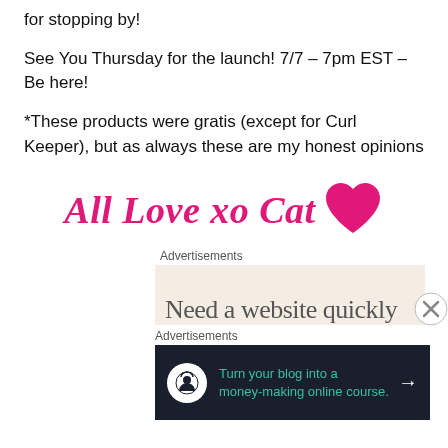for stopping by!
See You Thursday for the launch! 7/7 – 7pm EST – Be here!
*These products were gratis (except for Curl Keeper), but as always these are my honest opinions
[Figure (illustration): Signature reading 'All Love xo Cat' in pink italic serif font with a pink heart icon to the right]
Advertisements
[Figure (screenshot): Beige advertisement banner with partial text 'Need a website quickly']
Advertisements
[Figure (screenshot): Dark navy advertisement: 'Turn your blog into a money-making online course.' with arrow button]